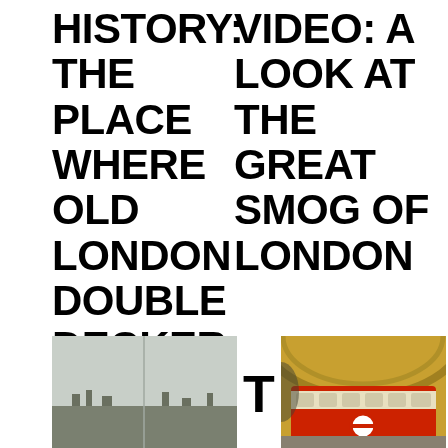HISTORY: THE PLACE WHERE OLD LONDON DOUBLE DECKER BUSES WENT TO DIE
VIDEO: A LOOK AT THE GREAT SMOG OF LONDON
[Figure (photo): Outdoor landscape photo, overcast sky, cityscape in distance]
T
[Figure (photo): London Underground tube station interior, curved ceiling, red and white train]